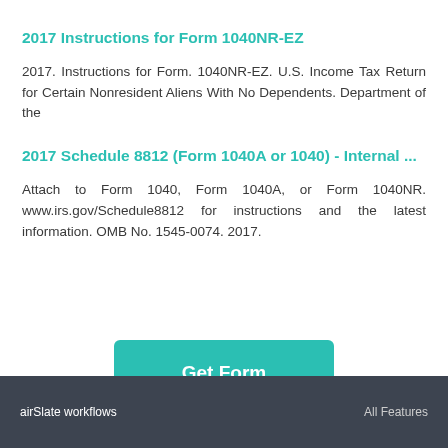2017 Instructions for Form 1040NR-EZ
2017. Instructions for Form. 1040NR-EZ. U.S. Income Tax Return for Certain Nonresident Aliens With No Dependents. Department of the
2017 Schedule 8812 (Form 1040A or 1040) - Internal ...
Attach to Form 1040, Form 1040A, or Form 1040NR. www.irs.gov/Schedule8812 for instructions and the latest information. OMB No. 1545-0074. 2017.
[Figure (other): Green 'Get Form' button]
airSlate workflows    All Features